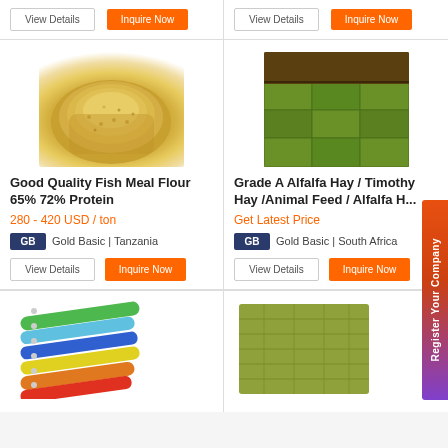[Figure (screenshot): Top row: two product listing action button bars with 'View Details' and orange 'Inquire Now' buttons]
[Figure (photo): Good Quality Fish Meal Flour product photo: golden granular powder pile]
Good Quality Fish Meal Flour 65% 72% Protein
280 - 420 USD / ton
Gold Basic | Tanzania
[Figure (photo): Grade A Alfalfa Hay bales stacked in a warehouse, green color]
Grade A Alfalfa Hay / Timothy Hay /Animal Feed / Alfalfa H...
Get Latest Price
Gold Basic | South Africa
[Figure (photo): Colorful fishing lures/baits arranged in a fan pattern]
[Figure (photo): Compressed hay block/bale, flat green dried grass block]
[Figure (infographic): Register Your Company vertical orange-to-purple sidebar tab on right edge]